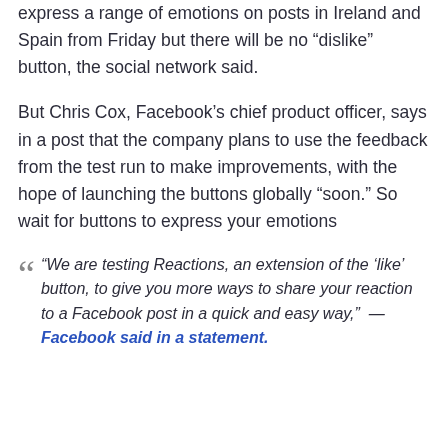express a range of emotions on posts in Ireland and Spain from Friday but there will be no “dislike” button, the social network said.
But Chris Cox, Facebook’s chief product officer, says in a post that the company plans to use the feedback from the test run to make improvements, with the hope of launching the buttons globally “soon.” So wait for buttons to express your emotions
“We are testing Reactions, an extension of the ‘like’ button, to give you more ways to share your reaction to a Facebook post in a quick and easy way,” — Facebook said in a statement.